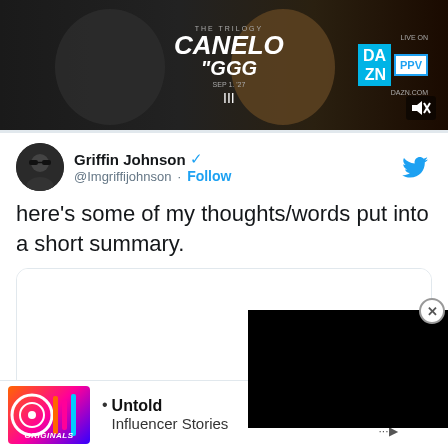[Figure (photo): Top banner advertisement for Canelo vs GGG boxing match on DAZN PPV, Sep 1. '27, dark background with fighter silhouettes]
Griffin Johnson @Imgriffinjohnson · Follow
here's some of my thoughts/words put into a short summary.
[Figure (screenshot): White media card with embedded video content area]
[Figure (photo): Bottom advertisement for Untold Influencer Stories with colorful Originals logo and Learn More CTA]